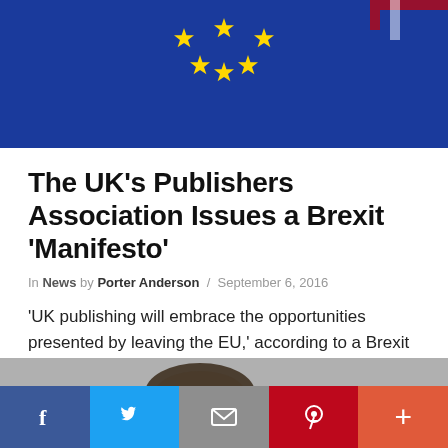[Figure (photo): Blue EU flag with gold stars, partial view cropped at top of page]
The UK’s Publishers Association Issues a Brexit ‘Manifesto’
In News by Porter Anderson / September 6, 2016
‘UK publishing will embrace the opportunities presented by leaving the EU,’ according to a Brexit manifesto on the Publishers Association’s lobbying points.
[Figure (photo): Bottom strip showing partial image (person with dark hair), grey background, partially visible]
[Figure (infographic): Social sharing bar with five buttons: Facebook (blue), Twitter (light blue), Email (grey), Pinterest (red), More (orange-red)]